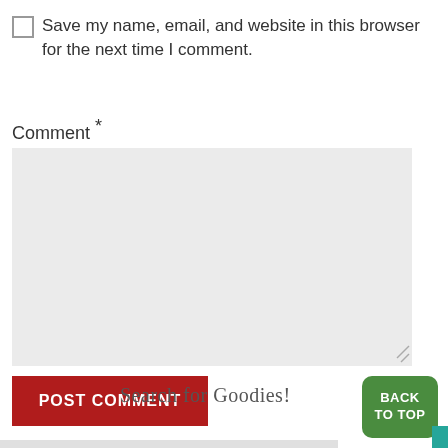Save my name, email, and website in this browser for the next time I comment.
Comment *
[Figure (screenshot): Empty comment textarea input field with light gray background and resize handle]
POST COMMENT
Search for Goodies!
BACK TO TOP